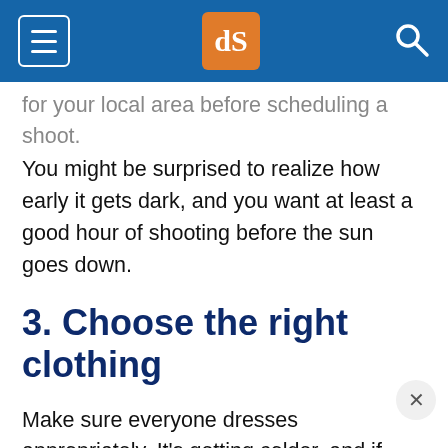dPS [logo header bar]
for your local area before scheduling a shoot.
You might be surprised to realize how early it gets dark, and you want at least a good hour of shooting before the sun goes down.
3. Choose the right clothing
Make sure everyone dresses appropriately. It's getting colder, and if everyone stays warm –